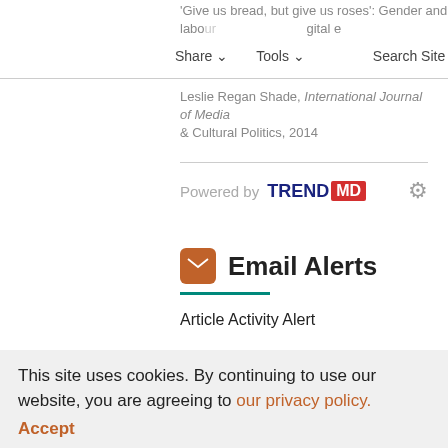'Give us bread, but give us roses': Gender and labour in the digital era
Leslie Regan Shade, International Journal of Media & Cultural Politics, 2014
[Figure (logo): Powered by TRENDMD logo with gear settings icon]
Email Alerts
Article Activity Alert
Latest Issue Alert
This site uses cookies. By continuing to use our website, you are agreeing to our privacy policy. Accept